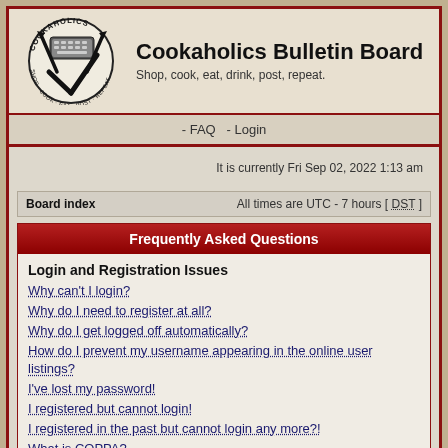[Figure (logo): Cookaholics circular logo with chef knives and text: Shop, Cook, Eat, Post, Repeat]
Cookaholics Bulletin Board
Shop, cook, eat, drink, post, repeat.
- FAQ  - Login
It is currently Fri Sep 02, 2022 1:13 am
Board index    All times are UTC - 7 hours [ DST ]
Frequently Asked Questions
Login and Registration Issues
Why can't I login?
Why do I need to register at all?
Why do I get logged off automatically?
How do I prevent my username appearing in the online user listings?
I've lost my password!
I registered but cannot login!
I registered in the past but cannot login any more?!
What is COPPA?
Why can't I register?
What does the "Delete all board cookies" do?